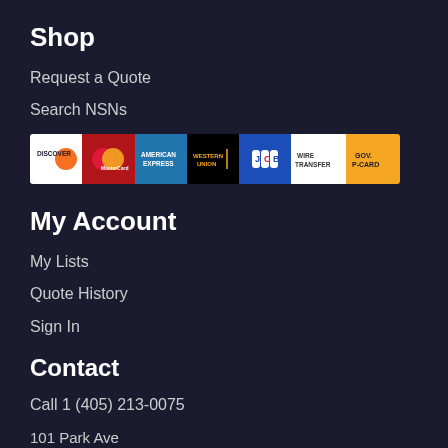Shop
Request a Quote
Search NSNs
[Figure (infographic): Payment method icons: Discover, MasterCard, American Express, Western Union, JCB, Wire Transfer, GOV P-CARD]
My Account
My Lists
Quote History
Sign In
Contact
Call 1 (405) 213-0075
101 Park Ave
Oklahoma City, OK  73102
[Figure (logo): Twitter social media button (blue circle with bird icon)]